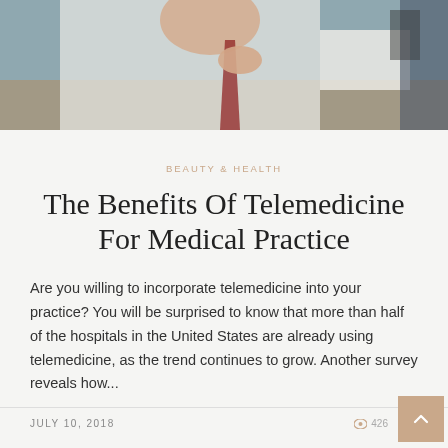[Figure (photo): Photo of a person in a white shirt and tie, appearing to be in a medical/office setting, holding or looking at papers, cropped to show upper body]
BEAUTY & HEALTH
The Benefits Of Telemedicine For Medical Practice
Are you willing to incorporate telemedicine into your practice? You will be surprised to know that more than half of the hospitals in the United States are already using telemedicine, as the trend continues to grow. Another survey reveals how...
JULY 10, 2018   426